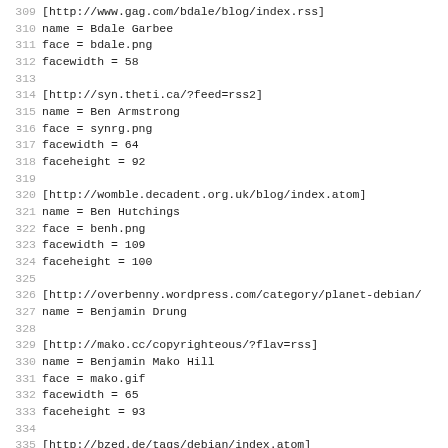309 [http://www.gag.com/bdale/blog/index.rss]
310 name = Bdale Garbee
311 face = bdale.png
312 facewidth = 58
313
314 [http://syn.theti.ca/?feed=rss2]
315 name = Ben Armstrong
316 face = synrg.png
317 facewidth = 64
318 faceheight = 92
319
320 [http://womble.decadent.org.uk/blog/index.atom]
321 name = Ben Hutchings
322 face = benh.png
323 facewidth = 109
324 faceheight = 100
325
326 [http://overbenny.wordpress.com/category/planet-debian/
327 name = Benjamin Drung
328
329 [http://mako.cc/copyrighteous/?flav=rss]
330 name = Benjamin Mako Hill
331 face = mako.gif
332 facewidth = 65
333 faceheight = 93
334
335 [http://bzed.de/tags/debian/index.atom]
336 name = Bernd Zeimetz
337 face = bzed.png
338 facewidth = 73
339 faceheight = 98
340
341 [http://...